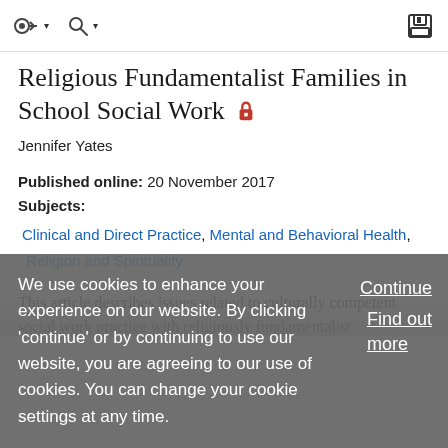toolbar with navigation and save icons
Religious Fundamentalist Families in School Social Work 🔒
Jennifer Yates
Published online: 20 November 2017
Subjects:
Clinical and Direct Practice, Mental and Behavioral Health, Religion and Spirituality
This article describes issues related to culturally competent social work practice with religiously fundamentalist families...
We use cookies to enhance your experience on our website. By clicking 'continue' or by continuing to use our website, you are agreeing to our use of cookies. You can change your cookie settings at any time.